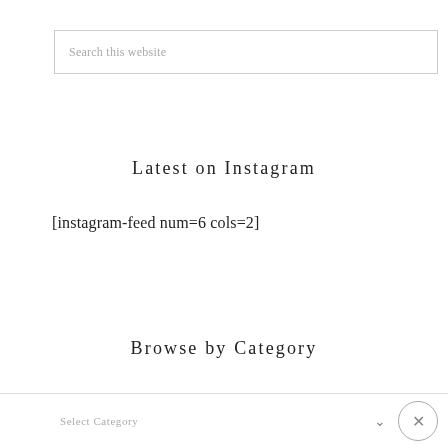Search this website
Latest on Instagram
[instagram-feed num=6 cols=2]
Browse by Category
Select Category